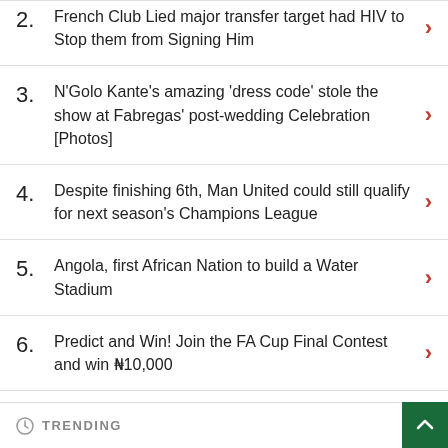2. French Club Lied major transfer target had HIV to Stop them from Signing Him
3. N'Golo Kante's amazing 'dress code' stole the show at Fabregas' post-wedding Celebration [Photos]
4. Despite finishing 6th, Man United could still qualify for next season's Champions League
5. Angola, first African Nation to build a Water Stadium
6. Predict and Win! Join the FA Cup Final Contest and win ₦10,000
TRENDING